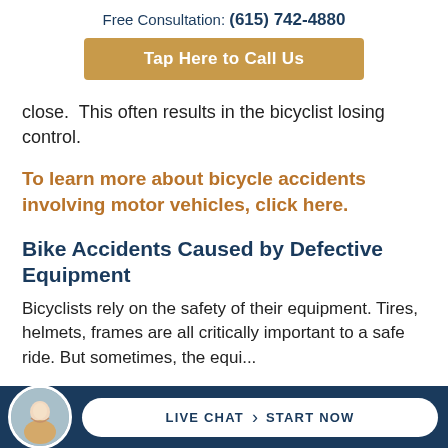Free Consultation: (615) 742-4880
Tap Here to Call Us
close.  This often results in the bicyclist losing control.
To learn more about bicycle accidents involving motor vehicles, click here.
Bike Accidents Caused by Defective Equipment
Bicyclists rely on the safety of their equipment. Tires, helmets, frames are all critically important to a safe ride. But sometimes, the equip... ...ity
LIVE CHAT  START NOW